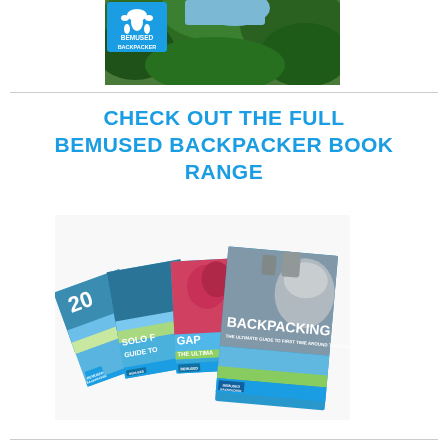[Figure (photo): Tropical green foliage/jungle photo with Bemused Backpacker logo in top-left corner]
CHECK OUT THE FULL BEMUSED BACKPACKER BOOK RANGE
[Figure (photo): Fan of four Bemused Backpacker travel books showing covers: '20...', 'Solo Female Guide to...', 'Gap...', and 'Backpacking: The Ultimate Guide to First Time Around the World Travel']